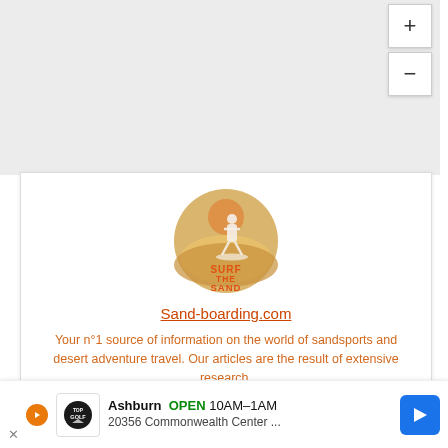[Figure (screenshot): Map background area (grey/empty) with zoom in (+) and zoom out (-) buttons in top right corner]
[Figure (logo): Surf The Sand circular logo with sandboarder silhouette on sandy dune background, orange/golden colors with 'SURF THE SAND' text]
Sand-boarding.com
Your n°1 source of information on the world of sandsports and desert adventure travel. Our articles are the result of extensive research,
[Figure (screenshot): Advertisement bar: TopGolf Ashburn OPEN 10AM-1AM, 20356 Commonwealth Center ..., with navigation arrow icon]